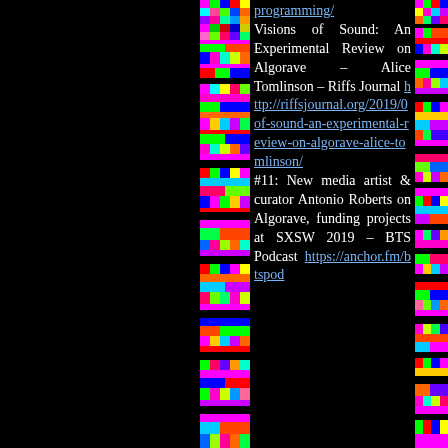[Figure (photo): Colorful pixel/glitch art strip on the left side of the page, with a black background on the far left, a narrow colorful mosaic strip in the middle-left, a text content area in the center-right, and another colorful mosaic strip on the far right.]
programming/ Visions of Sound: An Experimental Review on Algorave – Alice Tomlinson – Riffs Journal http://riffsjournal.org/2019/0...of-sound-an-experimental-review-on-algorave-alice-tomlinson/ #11: New media artist & curator Antonio Roberts on Algorave, funding projects at SXSW 2019 – BTS Podcast https://anchor.fm/btspod...